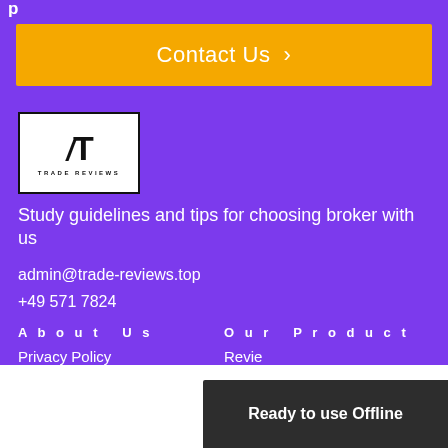p
Contact Us >
[Figure (logo): Trade Reviews logo: stylized T with italic slash, box border, text TRADE REVIEWS below]
Study guidelines and tips for choosing broker with us
admin@trade-reviews.top
+49 571 7824
About Us
Our Product
Privacy Policy
Reviews
Ready to use Offline